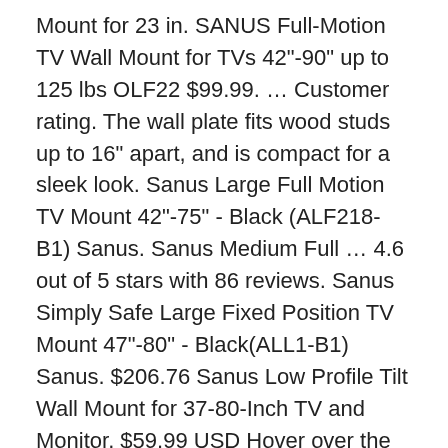Mount for 23 in. SANUS Full-Motion TV Wall Mount for TVs 42"-90" up to 125 lbs OLF22 $99.99. … Customer rating. The wall plate fits wood studs up to 16" apart, and is compact for a sleek look. Sanus Large Full Motion TV Mount 42"-75" - Black (ALF218-B1) Sanus. Sanus Medium Full … 4.6 out of 5 stars with 86 reviews. Sanus Simply Safe Large Fixed Position TV Mount 47"-80" - Black(ALL1-B1) Sanus. $206.76 Sanus Low Profile Tilt Wall Mount for 37-80-Inch TV and Monitor. $59.99 USD Hover over the large image to zoom. Sanus Super Low Profile MLL11-B1 TV Wall Mount for 37"-80" LED, LCD and Plasma Flat and Curved Screen TVs and Monitors. Sanus MLL11 Fixed Wall Mount for 37-in to 80-in TVs Item 440940 Model MLL11. The SANUS Classic MLT14 is an unparalleled low-profile tilting wall mount 37" – 80". Sanus Systems … 4.7 out of 5 stars